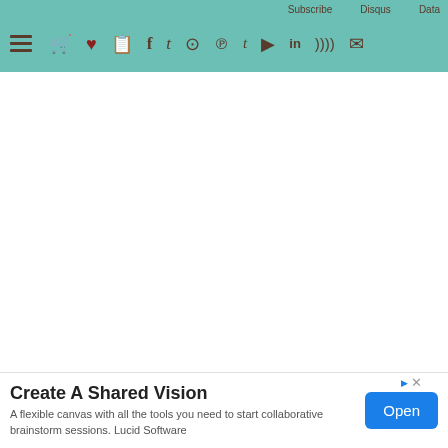Subscribe  Disqus  Data
[Figure (screenshot): Navigation bar with hamburger menu and social media icons (cart, heart, book, facebook, twitter, instagram, pinterest, tumblr, youtube, linkedin, rss, email) on a teal/mint green background]
[Figure (screenshot): Dropdown chevron tab at bottom left of white content area]
[Figure (screenshot): Advertisement banner: 'Create A Shared Vision' with subtitle 'A flexible canvas with all the tools you need to start collaborative brainstorm sessions. Lucid Software' and an Open button]